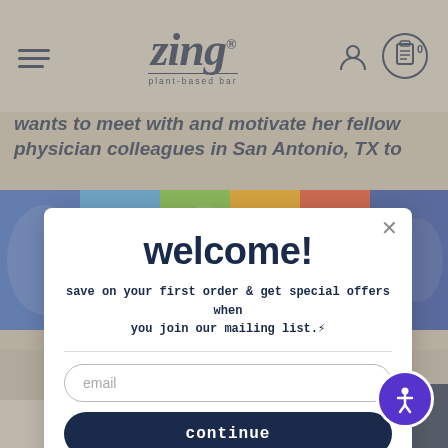[Figure (screenshot): Zing plant-based bar website navigation header with hamburger menu, Zing logo, user icon, and cart icon showing 0 items]
wants to meet with and motivate her fellow physician colleagues in San Antonio, TX to
[Figure (photo): Colorful product packaging strip for Zing plant-based bars]
welcome!
save on your first order & get special offers when you join our mailing list.⚡
email
continue
[Figure (photo): Kitchen scene with vegetables and cooking items on a counter]
Shop & Earn Rewards!